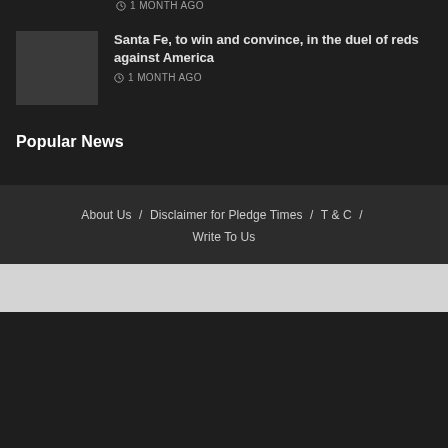1 MONTH AGO
Santa Fe, to win and convince, in the duel of reds against America
1 MONTH AGO
Popular News
About Us / Disclaimer for Pledge Times / T & C / Write To Us